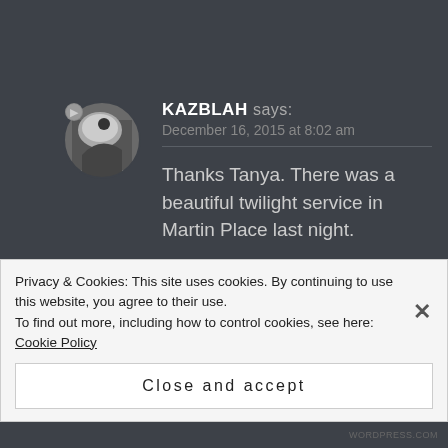KAZBLAH says:
December 16, 2015 at 8:02 am
Thanks Tanya. There was a beautiful twilight service in Martin Place last night.
Like
Privacy & Cookies: This site uses cookies. By continuing to use this website, you agree to their use.
To find out more, including how to control cookies, see here: Cookie Policy
Close and accept